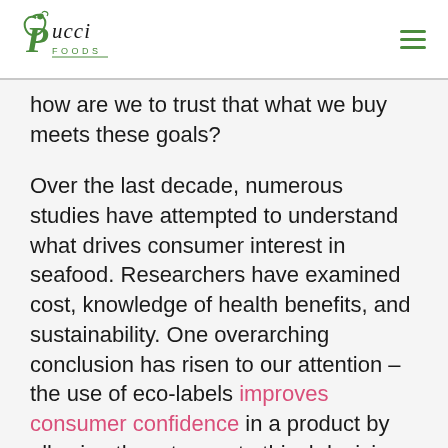Pucci Foods
how are we to trust that what we buy meets these goals?
Over the last decade, numerous studies have attempted to understand what drives consumer interest in seafood. Researchers have examined cost, knowledge of health benefits, and sustainability. One overarching conclusion has risen to our attention – the use of eco-labels improves consumer confidence in a product by allowing them to exert ethical decision-making.
Having that confidence is essential for ethically conscious consumers – we are